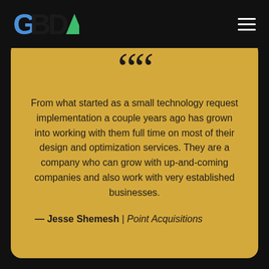GBDA
From what started as a small technology request implementation a couple years ago has grown into working with them full time on most of their design and optimization services. They are a company who can grow with up-and-coming companies and also work with very established businesses.
— Jesse Shemesh | Point Acquisitions